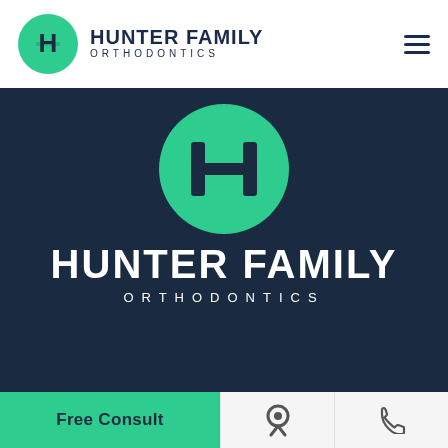[Figure (logo): Hunter Family Orthodontics logo in header: green circle with H icon, bold navy text 'HUNTER FAMILY' and spaced 'ORTHODONTICS' below]
HUNTER FAMILY
ORTHODONTICS
Our Location
6704 Sterling Ridge Dr Suite B
Free Consult